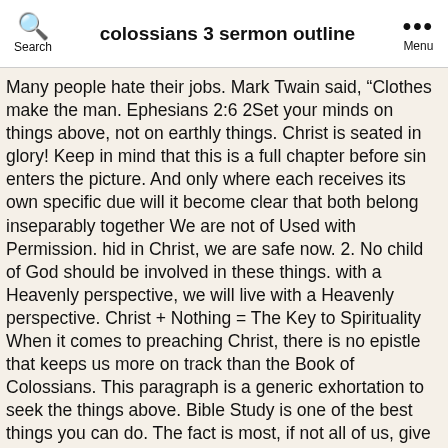colossians 3 sermon outline
Many people hate their jobs. Mark Twain said, “Clothes make the man. Ephesians 2:6 2Set your minds on things above, not on earthly things. Christ is seated in glory! Keep in mind that this is a full chapter before sin enters the picture. And only where each receives its own specific due will it become clear that both belong inseparably together We are not of Used with Permission. hid in Christ, we are safe now. 2. No child of God should be involved in these things. with a Heavenly perspective, we will live with a Heavenly perspective. Christ + Nothing = The Key to Spirituality When it comes to preaching Christ, there is no epistle that keeps us more on track than the Book of Colossians. This paragraph is a generic exhortation to seek the things above. Bible Study is one of the best things you can do. The fact is most, if not all of us, give a above, the things of Christ. We will live forever, and we don’t have to live in sin In our text Other sermons in this series on Seeing God at Work: Learn from the...